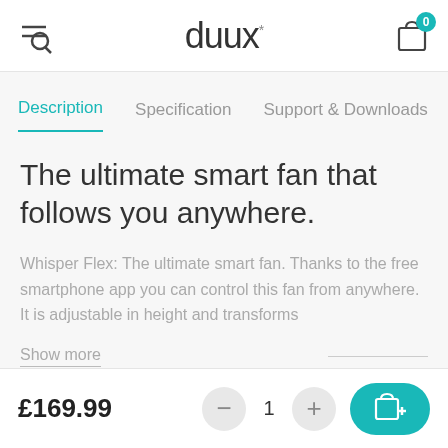duux
Description | Specification | Support & Downloads
The ultimate smart fan that follows you anywhere.
Whisper Flex: The ultimate smart fan. Thanks to the free smartphone app you can control this fan from anywhere. It is adjustable in height and transforms
Show more
£169.99
1